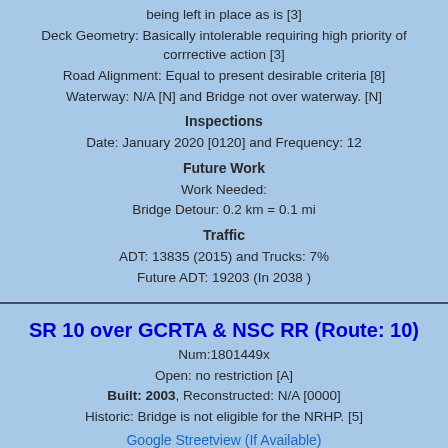being left in place as is [3]
Deck Geometry: Basically intolerable requiring high priority of corrrective action [3]
Road Alignment: Equal to present desirable criteria [8]
Waterway: N/A [N] and Bridge not over waterway. [N]
Inspections
Date: January 2020 [0120] and Frequency: 12
Future Work
Work Needed:
Bridge Detour: 0.2 km = 0.1 mi
Traffic
ADT: 13835 (2015) and Trucks: 7%
Future ADT: 19203 (In 2038 )
SR 10 over GCRTA & NSC RR (Route: 10)
Num:1801449x
Open: no restriction [A]
Built: 2003, Reconstructed: N/A [0000]
Historic: Bridge is not eligible for the NRHP. [5]
Google Streetview (If Available)
Rough Distance: 0.2 Miles (0.4 Kilometers)